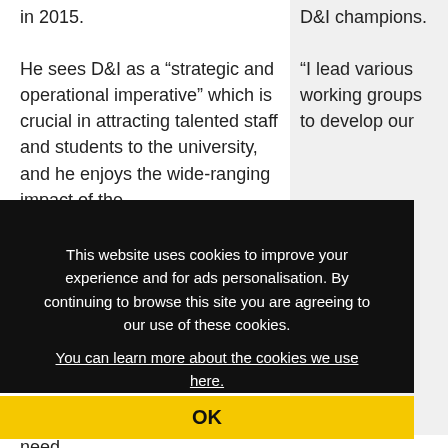in 2015.
D&I champions.
He sees D&I as a “strategic and operational imperative” which is crucial in attracting talented staff and students to the university, and he enjoys the wide-ranging impact of the
“I lead various working groups to develop our
This website uses cookies to improve your experience and for ads personalisation. By continuing to browse this site you are agreeing to our use of these cookies.
You can learn more about the cookies we use here.
OK
“Empathy is useful but you also need
strategy, and I